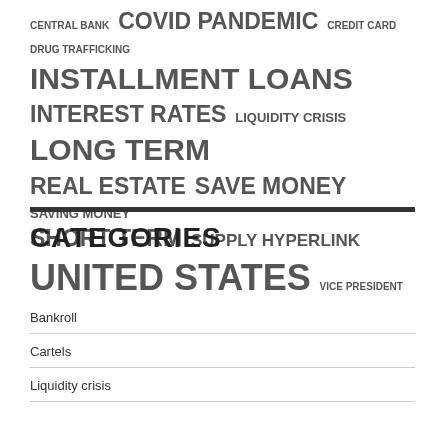CENTRAL BANK  COVID PANDEMIC  CREDIT CARD  DRUG TRAFFICKING  INSTALLMENT LOANS  INTEREST RATES  LIQUIDITY CRISIS  LONG TERM  REAL ESTATE  SAVE MONEY  SAVING MONEY  SHORT TERM  SUPPLY HYPERLINK  UNITED STATES  VICE PRESIDENT
CATEGORIES
Bankroll
Cartels
Liquidity crisis